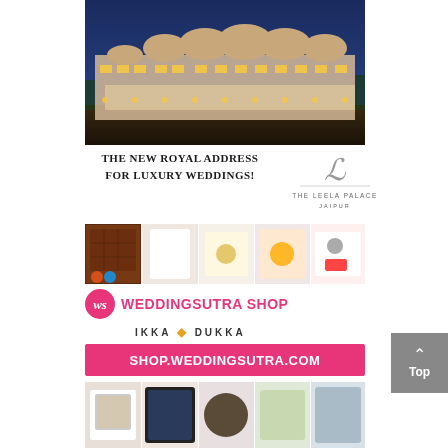[Figure (photo): Aerial night view of The Leela Palace Jaipur – a grand illuminated white palace building with domed architecture surrounded by lights and greenery]
The new royal address for luxury weddings!
[Figure (logo): The Leela Palace Jaipur logo – stylized cursive L with text 'THE LEELA PALACE JAIPUR']
[Figure (photo): Horizontal strip of gift product images from WeddingSutra Shop – chocolates, trinkets, jewelry boxes, decorative items]
[Figure (logo): WeddingSutra Shop logo with pink circle bearing stylized 'ws', bold pink text WEDDINGSUTRA SHOP, and subtitle IKKA DUKKA]
SHOP.WEDDINGSUTRA.COM
[Figure (photo): Horizontal strip of product images from WeddingSutra shop – boxes, accessories, food items, mobile]